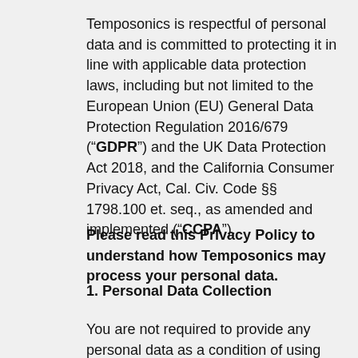Temposonics is respectful of personal data and is committed to protecting it in line with applicable data protection laws, including but not limited to the European Union (EU) General Data Protection Regulation 2016/679 (“GDPR”) and the UK Data Protection Act 2018, and the California Consumer Privacy Act, Cal. Civ. Code §§ 1798.100 et. seq., as amended and implemented (“CCPA”).
Please read this Privacy Policy to understand how Temposonics may process your personal data.
1. Personal Data Collection
You are not required to provide any personal data as a condition of using our Website or our